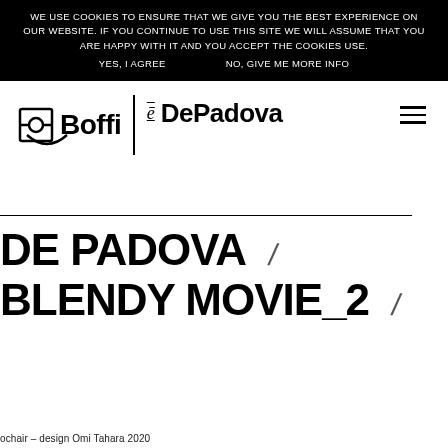WE USE COOKIES TO ENSURE THAT WE GIVE YOU THE BEST EXPERIENCE ON OUR WEBSITE. IF YOU CONTINUE TO USE THIS SITE WE WILL ASSUME THAT YOU ARE HAPPY WITH IT AND YOU ACCEPT THE COOKIES USE. YES, I AGREE   NO, GIVE ME MORE INFO
[Figure (logo): Boffi | e DePadova logo with smile arc beneath Boffi text and hamburger menu icon on right]
DE PADOVA /
BLENDY MOVIE_2 /
ochair – design Omi Tahara 2020